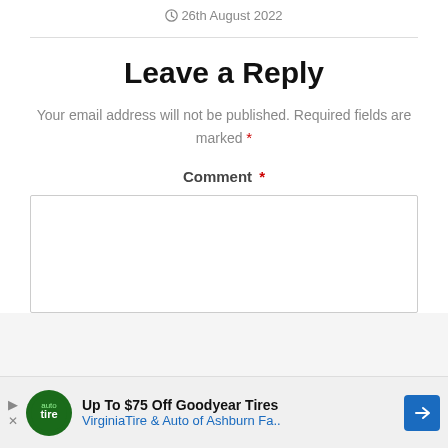26th August 2022
Leave a Reply
Your email address will not be published. Required fields are marked *
Comment *
[Figure (other): Comment text area input box]
Up To $75 Off Goodyear Tires VirginiaTire & Auto of Ashburn Fa..